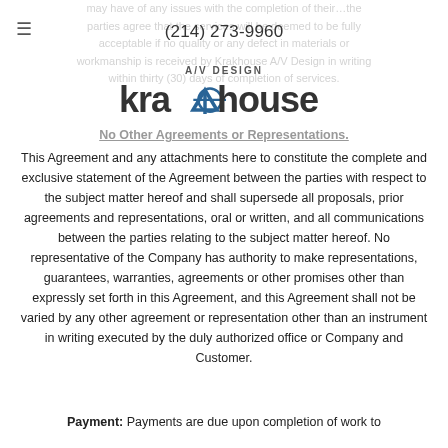may have of any issues with the completion of their…the parties agree that the services will be deemed to be fully acceptable if no quality or any defect in materials or workmanship is received by Krakhouse A/V Design in writing within thirty (30) days of completion of services.
[Figure (logo): Krakhouse A/V Design logo with stylized text and phone number (214) 273-9960]
No Other Agreements or Representations.
This Agreement and any attachments here to constitute the complete and exclusive statement of the Agreement between the parties with respect to the subject matter hereof and shall supersede all proposals, prior agreements and representations, oral or written, and all communications between the parties relating to the subject matter hereof. No representative of the Company has authority to make representations, guarantees, warranties, agreements or other promises other than expressly set forth in this Agreement, and this Agreement shall not be varied by any other agreement or representation other than an instrument in writing executed by the duly authorized office or Company and Customer.
Payment: Payments are due upon completion of work to